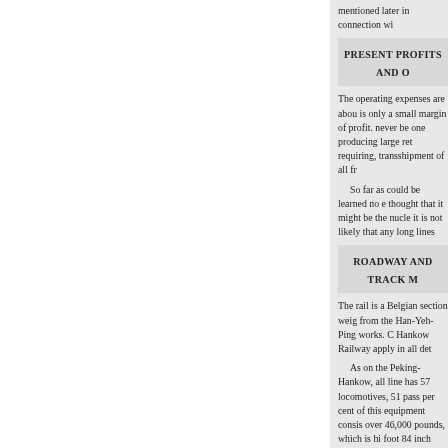mentioned later in connection wi
PRESENT PROFITS AND O
The operating expenses are abou is only a small margin of profit. never be one producing large ret requiring, transshipment of all fr
So far as could be learned no e thought that it might be the nucle it is not likely that any long lines
ROADWAY AND TRACK M
The rail is a Belgian section weig from the Han-Yeh-Ping works. C Hankow Railway apply in all det
As on the Peking-Hankow, all line has 57 locomotives, 51 pass per cent of this equipment consis over 46,000 pounds, which is hi foot 84 inch gauge.